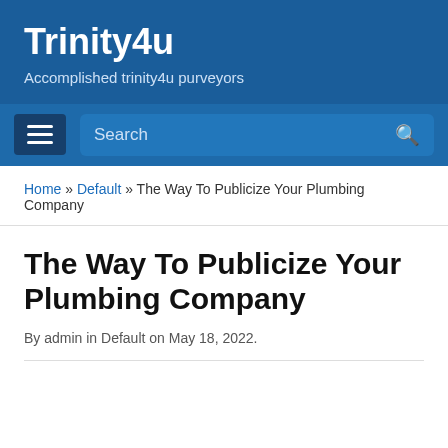Trinity4u
Accomplished trinity4u purveyors
Home » Default » The Way To Publicize Your Plumbing Company
The Way To Publicize Your Plumbing Company
By admin in Default on May 18, 2022.